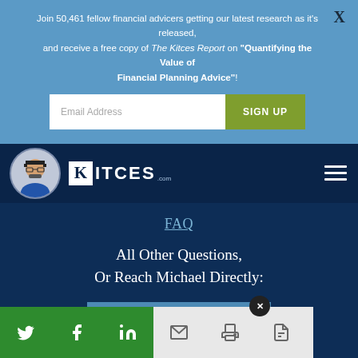Join 50,461 fellow financial advicers getting our latest research as it's released, and receive a free copy of The Kitces Report on "Quantifying the Value of Financial Planning Advice"!
[Figure (screenshot): Email address input field and SIGN UP button on blue banner]
[Figure (logo): Kitces.com logo with avatar and hamburger menu on dark navy navigation bar]
FAQ
All Other Questions, Or Reach Michael Directly:
[Figure (screenshot): CONTACT MICHAEL button in medium blue]
[Figure (screenshot): Social share bar with Twitter, Facebook, LinkedIn social icons in green, and email, print, PDF icons in light gray]